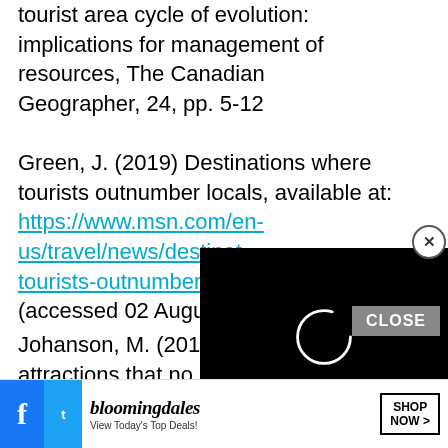tourist area cycle of evolution: implications for management of resources, The Canadian Geographer, 24, pp. 5-12
Green, J. (2019) Destinations where tourists outnumber locals, available at: https://www.msn.com/en-us/travel/news/destinations-where-tourists-outnumber-locals (accessed 02 August 2...)
Johanson, M. (2015) The best tourist attractions that no longer exist, available at:
[Figure (screenshot): A black video player overlay showing a loading spinner (partial white circle) covering the right portion of the page]
[Figure (screenshot): A Bloomingdale's advertisement bar at the bottom: logo text 'bloomingdales', tagline 'View Today's Top Deals!', and a 'SHOP NOW >' button]